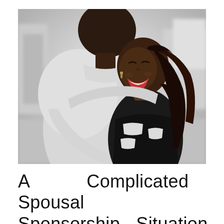[Figure (photo): Black and white photograph of a couple embracing and laughing joyfully outdoors, with an urban background blurred behind them.]
A Complicated Spousal Sponsorship Situation with a Good Ending